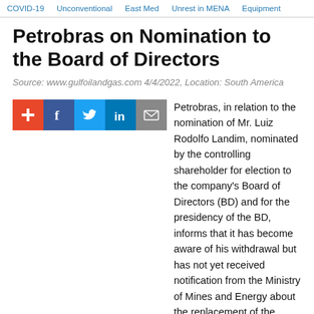COVID-19  Unconventional  East Med  Unrest in MENA  Equipment
Petrobras on Nomination to the Board of Directors
Source: www.gulfoilandgas.com 4/4/2022, Location: South America
[Figure (infographic): Social sharing icons: plus (red), Facebook (dark blue), Twitter (light blue), LinkedIn (blue), Email (grey)]
Petrobras, in relation to the nomination of Mr. Luiz Rodolfo Landim, nominated by the controlling shareholder for election to the company's Board of Directors (BD) and for the presidency of the BD, informs that it has become aware of his withdrawal but has not yet received notification from the Ministry of Mines and Energy about the replacement of the candidate.
Executive Recruiting News in Brazil >>